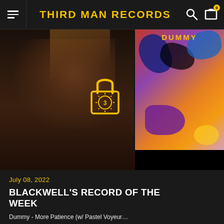THIRD MAN RECORDS
[Figure (photo): A man with long reddish-blond hair resting his chin on his hand, looking pensively at the camera. Overlaid with a Third Man Records lock/vault logo badge in yellow. Behind him to the right is a colorful album cover with abstract bird/animal artwork and the text 'DUMMY' in yellow letters.]
July 08, 2022
BLACKWELL'S RECORD OF THE WEEK
Dummy - More Patience (w/ Pastel Voyeur…